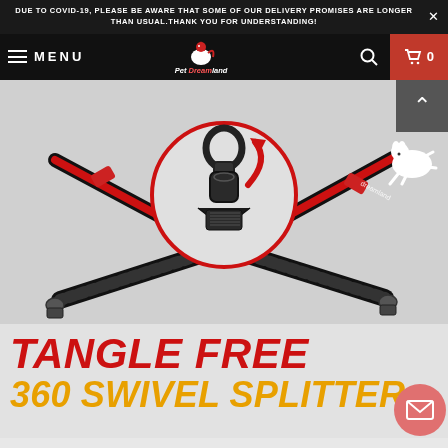DUE TO COVID-19, PLEASE BE AWARE THAT SOME OF OUR DELIVERY PROMISES ARE LONGER THAN USUAL. THANK YOU FOR UNDERSTANDING!
[Figure (screenshot): E-commerce website navigation bar with hamburger menu icon, MENU text, Pet Dreamland logo (dog with red cape), search icon, and red cart button showing 0 items]
[Figure (photo): Product photo of a double dog leash splitter with red and black bungee cords, two metal clips at the bottom, and a circular inset showing a 360-degree swivel connector with a red arrow indicating rotation. The word 'dreamland' is visible on the leash strap.]
TANGLE FREE
360 SWIVEL SPLITTER